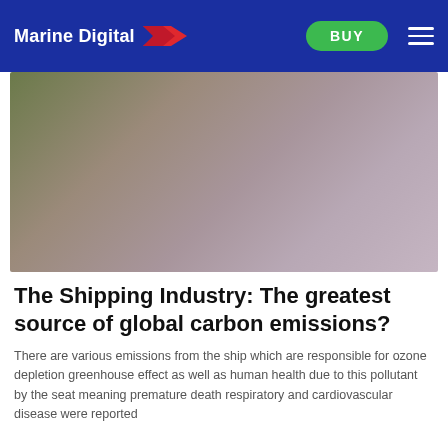Marine Digital
[Figure (photo): Blurred atmospheric outdoor scene with muted green, brown, and purple tones suggesting sky and landscape, possibly depicting pollution or haze.]
The Shipping Industry: The greatest source of global carbon emissions?
There are various emissions from the ship which are responsible for ozone depletion greenhouse effect as well as human health due to this pollutant by the seat meaning premature death respiratory and cardiovascular disease were reported